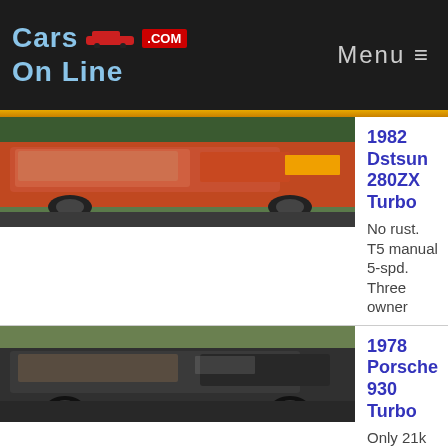Cars On Line .com — Menu
[Figure (photo): 1982 Datsun 280ZX Turbo — orange/red sports car, front three-quarter view]
1982 Dstsun 280ZX Turbo
No rust. T5 manual 5-spd. Three owner
[Figure (photo): 1978 Porsche 930 Turbo — dark gray/black 911 Turbo, side view]
1978 Porsche 930 Turbo
Only 21k miles. One of one. Well
[Figure (photo): 1959 Mercedes-Benz 190SL Roadster — silver convertible with luggage rack]
1959 Mercedes-Benz 190SL Roadster
Red leather int. Factory correct 1.9L 4-
[Figure (photo): 1953 MG TD Roadster — dark blue/black classic roadster]
1953 MG TD Roadster
Real steel body. Twin SU carbs.